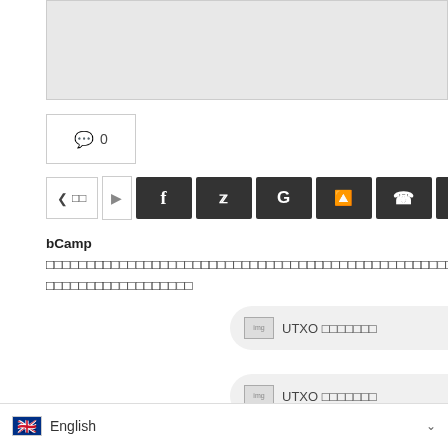[Figure (other): Partial gray image/banner area at top of article page]
💬 0
[Figure (other): Social share bar with icons: Share label, arrow, Facebook (f), Twitter, Google (G), Reddit, WhatsApp, Pinterest, plus button]
bCamp [Thai text about article topic]
[Figure (other): UTXO link button 1 with small image placeholder and Thai text]
[Figure (other): UTXO link button 2 with small image placeholder and Thai text]
[Thai text] Bitcoin [Thai text] Ethereum、NEO、Qtum [Thai text]
English (language selector)